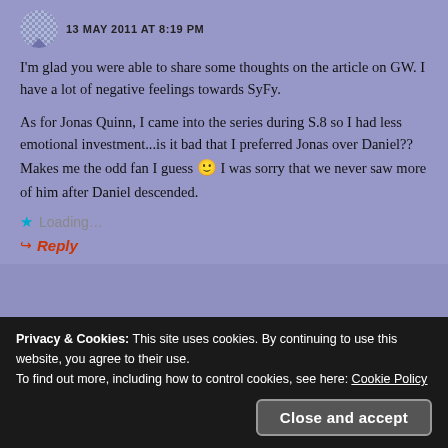13 MAY 2011 AT 8:19 PM
I'm glad you were able to share some thoughts on the article on GW. I have a lot of negative feelings towards SyFy.
As for Jonas Quinn, I came into the series during S.8 so I had less emotional investment...is it bad that I preferred Jonas over Daniel?? Makes me the odd fan I guess 🙂 I was sorry that we never saw more of him after Daniel descended.
Loading...
Reply
Privacy & Cookies: This site uses cookies. By continuing to use this website, you agree to their use.
To find out more, including how to control cookies, see here: Cookie Policy
Close and accept
understand how so many people disliked it,